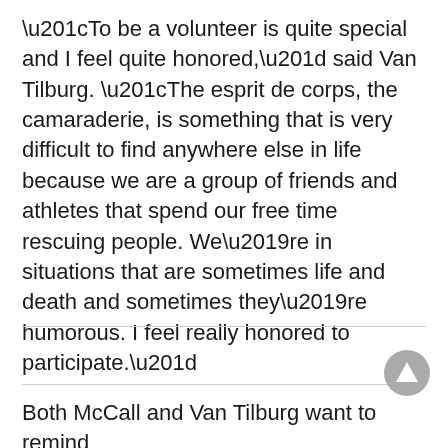“To be a volunteer is quite special and I feel quite honored,” said Van Tilburg. “The esprit de corps, the camaraderie, is something that is very difficult to find anywhere else in life because we are a group of friends and athletes that spend our free time rescuing people. We’re in situations that are sometimes life and death and sometimes they’re humorous. I feel really honored to participate.”
Both McCall and Van Tilburg want to remind